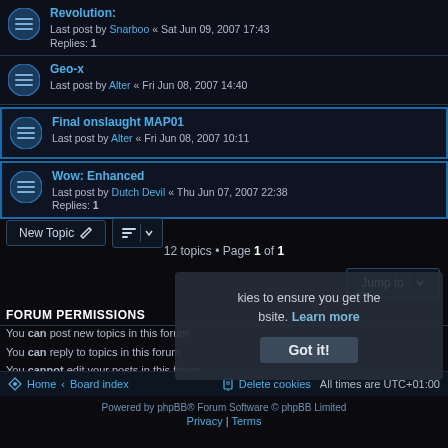Revolution: Last post by Snarboo « Sat Jun 09, 2007 17:43 — Replies: 1
Geo-x: Last post by Alter « Fri Jun 08, 2007 14:40
Final onslaught MAP01: Last post by Alter « Fri Jun 08, 2007 10:11
Wow: Enhanced: Last post by Dutch Devil « Thu Jun 07, 2007 22:38 — Replies: 1
12 topics • Page 1 of 1
FORUM PERMISSIONS
You can post new topics in this forum
You can reply to topics in this forum
You cannot edit your posts in this forum
You cannot delete your posts in this forum
You can post attachments in this forum
Home • Board index | Delete cookies | All times are UTC+01:00
Powered by phpBB® Forum Software © phpBB Limited
Privacy | Terms